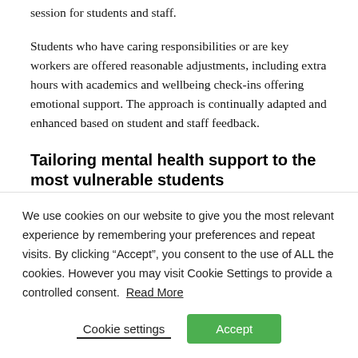session for students and staff.
Students who have caring responsibilities or are key workers are offered reasonable adjustments, including extra hours with academics and wellbeing check-ins offering emotional support. The approach is continually adapted and enhanced based on student and staff feedback.
Tailoring mental health support to the most vulnerable students
We use cookies on our website to give you the most relevant experience by remembering your preferences and repeat visits. By clicking “Accept”, you consent to the use of ALL the cookies. However you may visit Cookie Settings to provide a controlled consent. Read More
Cookie settings
Accept